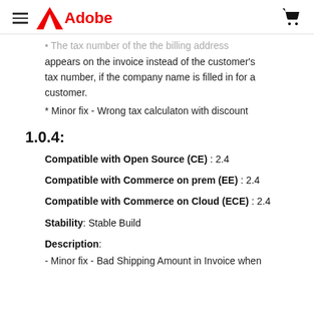Adobe
The tax number of the the billing address appears on the invoice instead of the customer's tax number, if the company name is filled in for a customer.
* Minor fix - Wrong tax calculaton with discount
1.0.4:
Compatible with Open Source (CE) : 2.4
Compatible with Commerce on prem (EE) : 2.4
Compatible with Commerce on Cloud (ECE) : 2.4
Stability: Stable Build
Description:
- Minor fix - Bad Shipping Amount in Invoice when